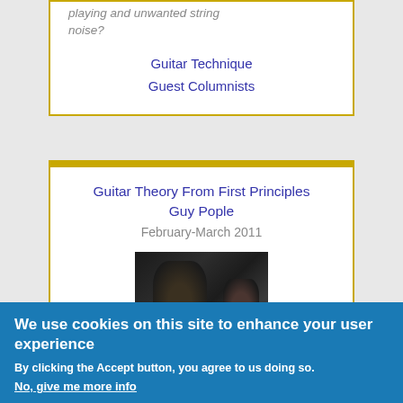playing and unwanted string noise?
Guitar Technique
Guest Columnists
Guitar Theory From First Principles
Guy Pople
February-March 2011
[Figure (photo): Dark fantasy artwork showing two figures, one with wild dark hair and another figure beside them, in a dark stylized illustration]
We use cookies on this site to enhance your user experience
By clicking the Accept button, you agree to us doing so.
No, give me more info